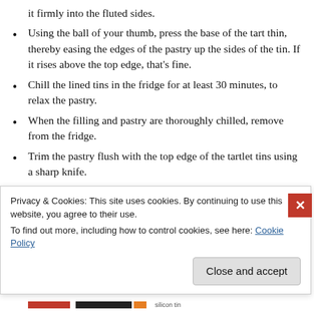it firmly into the fluted sides.
Using the ball of your thumb, press the base of the tart thin, thereby easing the edges of the pastry up the sides of the tin. If it rises above the top edge, that’s fine.
Chill the lined tins in the fridge for at least 30 minutes, to relax the pastry.
When the filling and pastry are thoroughly chilled, remove from the fridge.
Trim the pastry flush with the top edge of the tartlet tins using a sharp knife.
Put half a teaspoon of jam into the bottom of
Privacy & Cookies: This site uses cookies. By continuing to use this website, you agree to their use.
To find out more, including how to control cookies, see here: Cookie Policy
Close and accept